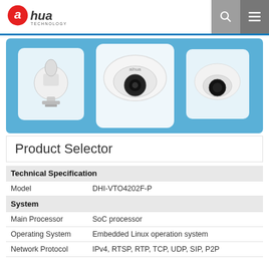alhua TECHNOLOGY
[Figure (photo): Three security cameras on a blue background: a PTZ dome camera on the left, a mini dome camera in the center (largest/foreground), and a compact dome camera on the right]
Product Selector
| Technical Specification |  |
| Model | DHI-VTO4202F-P |
| System |  |
| Main Processor | SoC processor |
| Operating System | Embedded Linux operation system |
| Network Protocol | IPv4, RTSP, RTP, TCP, UDP, SIP, P2P |